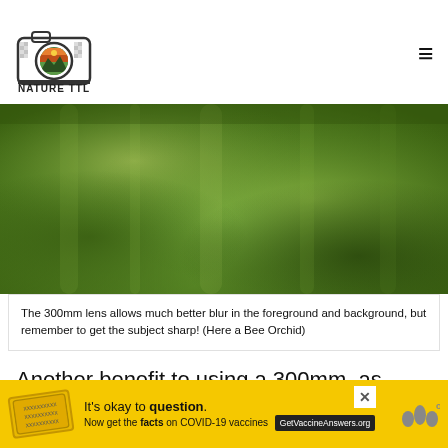[Figure (logo): Nature TTL logo: camera icon with mountains and sunset inside lens, text 'NATURE TTL' below]
[Figure (photo): Blurred green background bokeh photo showing out-of-focus greenery, representing 300mm lens background blur effect with a Bee Orchid subject]
The 300mm lens allows much better blur in the foreground and background, but remember to get the subject sharp! (Here a Bee Orchid)
Another benefit to using a 300mm, as opposed to a 100mm lens, is the ability to control the amount of background in frame.
[Figure (infographic): Advertisement banner: yellow background, stamp graphic, 'It's okay to question. Now get the facts on COVID-19 vaccines' with GetVaccineAnswers.org button, close X button, and weather channel logo]